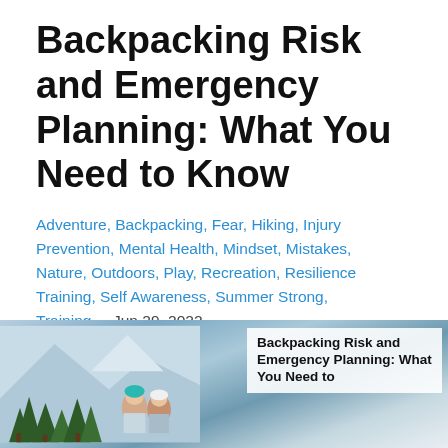Backpacking Risk and Emergency Planning: What You Need to Know
Adventure, Backpacking, Fear, Hiking, Injury Prevention, Mental Health, Mindset, Mistakes, Nature, Outdoors, Play, Recreation, Resilience Training, Self Awareness, Summer Strong, Training    Jun 29, 2022
[Figure (photo): Outdoor photo showing hikers/backpackers with snow-capped mountains and pine trees in the background, with overlaid text reading 'Backpacking Risk and Emergency Planning: What You Need to']